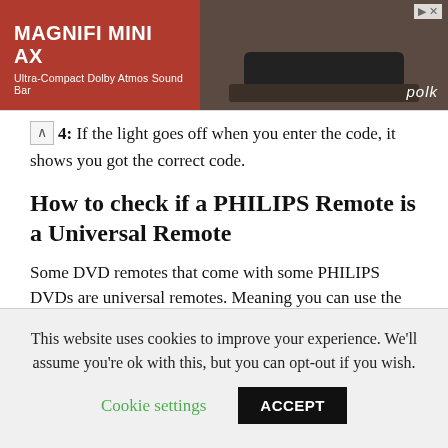[Figure (infographic): Advertisement banner for Polk Audio MagniFi Mini AX Ultra-Compact Dolby Atmos Sound Bar. Left red panel with product title and subtitle, right dark panel showing the speaker product and 'polk' logo.]
4: If the light goes off when you enter the code, it shows you got the correct code.
How to check if a PHILIPS Remote is a Universal Remote
Some DVD remotes that come with some PHILIPS DVDs are universal remotes. Meaning you can use the remote to power other gadgets besides PHILIPS DVD. To check if your PHILIPS remote is a universal remote, check if has the ‘Set’ and ‘Mode’ options. If it does, it is a universal remote.
This website uses cookies to improve your experience. We'll assume you're ok with this, but you can opt-out if you wish.
Cookie settings
ACCEPT